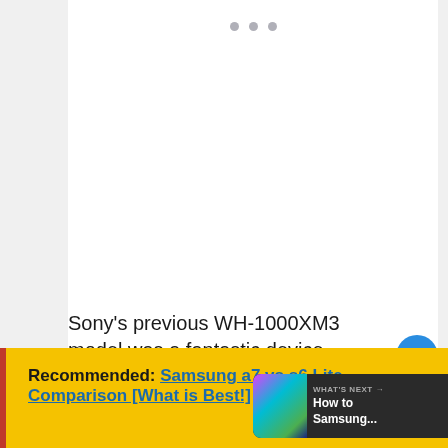[Figure (other): Loading dots / spinner placeholder — three grey dots centered in white card area]
Sony's previous WH-1000XM3 model was a fantastic device.
Recommended: Samsung a7 vs s6 Lite Comparison [What is Best!]
[Figure (photo): WHAT'S NEXT → How to Samsung... thumbnail with phone images]